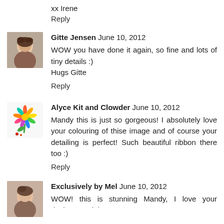xx Irene
Reply
[Figure (photo): Avatar photo of Gitte Jensen]
Gitte Jensen  June 10, 2012
WOW you have done it again, so fine and lots of tiny details :)
Hugs Gitte
Reply
[Figure (logo): Avatar logo for Alyce Kit and Clowder - colorful flower/chrysanthemum illustration]
Alyce Kit and Clowder  June 10, 2012
Mandy this is just so gorgeous! I absolutely love your colouring of thise image and of course your detailing is perfect! Such beautiful ribbon there too :)
Reply
[Figure (photo): Avatar photo of Exclusively by Mel]
Exclusively by Mel  June 10, 2012
WOW! this is stunning Mandy, I love your designs, and the